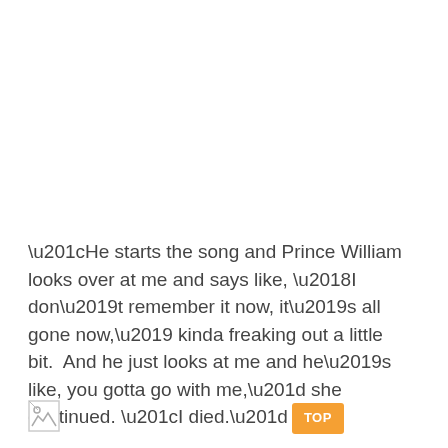“He starts the song and Prince William looks over at me and says like, ‘I don’t remember it now, it’s all gone now,’ kinda freaking out a little bit.  And he just looks at me and he’s like, you gotta go with me,” she continued. “I died.”
[Figure (other): Broken image placeholder icon (small image with broken link icon)]